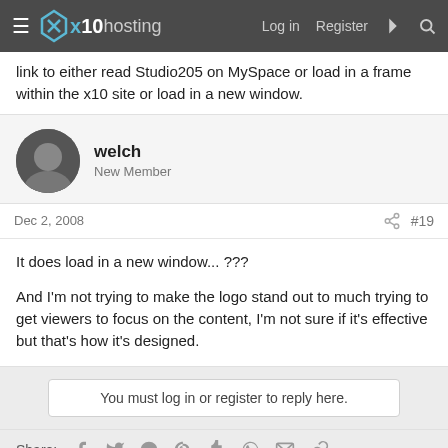x10hosting — Log in  Register
link to either read Studio205 on MySpace or load in a frame within the x10 site or load in a new window.
welch
New Member
Dec 2, 2008  #19
It does load in a new window... ???

And I'm not trying to make the logo stand out to much trying to get viewers to focus on the content, I'm not sure if it's effective but that's how it's designed.
You must log in or register to reply here.
Share: